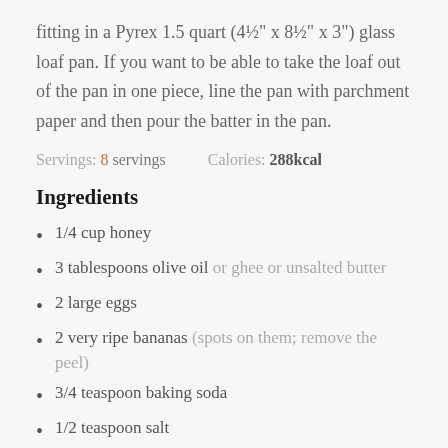fitting in a Pyrex 1.5 quart (4½" x 8½" x 3") glass loaf pan. If you want to be able to take the loaf out of the pan in one piece, line the pan with parchment paper and then pour the batter in the pan.
Servings: 8 servings    Calories: 288kcal
Ingredients
1/4 cup honey
3 tablespoons olive oil or ghee or unsalted butter
2 large eggs
2 very ripe bananas (spots on them; remove the peel)
3/4 teaspoon baking soda
1/2 teaspoon salt